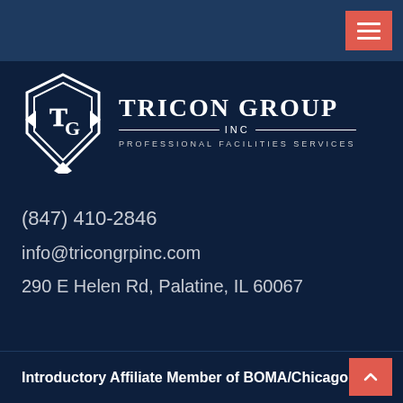[Figure (logo): Tricon Group Inc logo with shield emblem containing T and G letters, with arrows on sides. Text reads 'TRICON GROUP INC - PROFESSIONAL FACILITIES SERVICES']
(847) 410-2846
info@tricongrpinc.com
290 E Helen Rd, Palatine, IL 60067
Introductory Affiliate Member of BOMA/Chicago